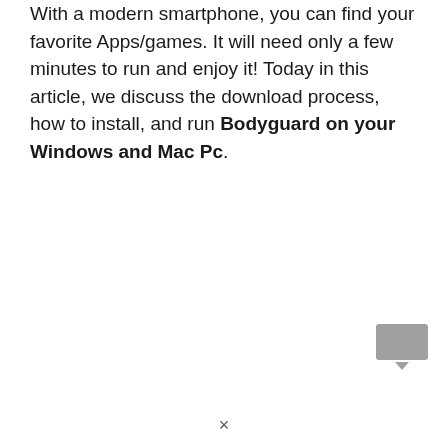With a modern smartphone, you can find your favorite Apps/games. It will need only a few minutes to run and enjoy it! Today in this article, we discuss the download process, how to install, and run Bodyguard on your Windows and Mac Pc.